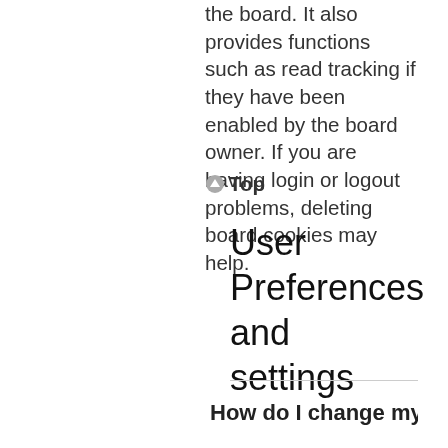the board. It also provides functions such as read tracking if they have been enabled by the board owner. If you are having login or logout problems, deleting board cookies may help.
Top
User Preferences and settings
How do I change my